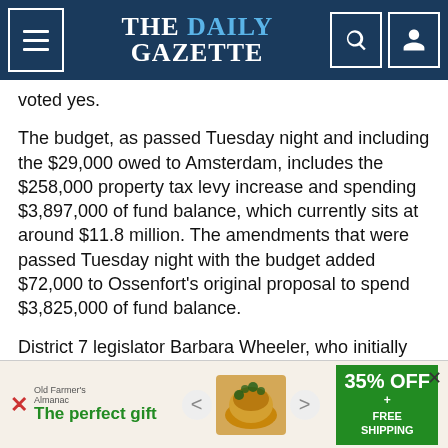THE DAILY GAZETTE
voted yes.
The budget, as passed Tuesday night and including the $29,000 owed to Amsterdam, includes the $258,000 property tax levy increase and spending $3,897,000 of fund balance, which currently sits at around $11.8 million. The amendments that were passed Tuesday night with the budget added $72,000 to Ossenfort's original proposal to spend $3,825,000 of fund balance.
District 7 legislator Barbara Wheeler, who initially passed when voting occurred, was the deciding vote at the end. She said she supported
[Figure (infographic): Advertisement banner: 'The perfect gift' with 35% OFF + FREE SHIPPING offer showing a food/gift product]